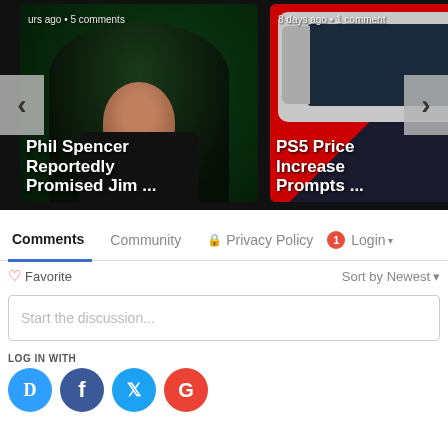[Figure (screenshot): Carousel card: Phil Spencer photo with green bokeh background. Text overlay reads 'urs ago • 5 comments' and 'Phil Spencer Reportedly Promised Jim ...']
[Figure (screenshot): Carousel card: Nintendo Switch and PS5 controller image on red background. Text overlay reads '8 days ago • 1 comment' and 'PS5 Price Increase Prompts ...']
Comments
Community
Privacy Policy
1
Login
Favorite
Sort by Newest
Start the discussion...
LOG IN WITH